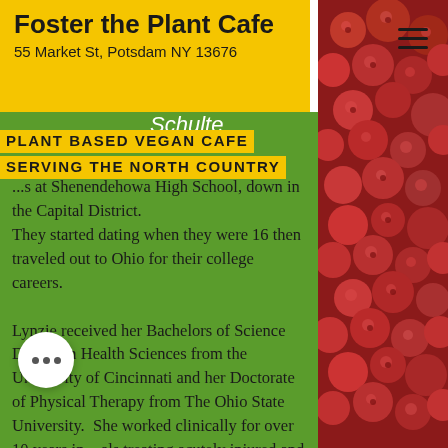Foster the Plant Cafe
55 Market St, Potsdam NY 13676
PLANT BASED VEGAN CAFE SERVING THE NORTH COUNTRY
Schulte
...s at Shenendehowa High School, down in the Capital District.
They started dating when they were 16 then traveled out to Ohio for their college careers.

Lynzie received her Bachelors of Science Degree in Health Sciences from the
University of Cincinnati and her Doctorate of Physical Therapy from The Ohio State University.  She worked clinically for over 10 years in ...als treating acutely injured and ...ividuals and worked in higher education as an adjunct faculty
[Figure (photo): Close-up photograph of red raspberries filling the right side of the page]